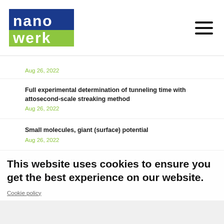nanowerk
Full experimental determination of tunneling time with attosecond-scale streaking method
Aug 26, 2022
Small molecules, giant (surface) potential
Aug 26, 2022
Metasurfaces offer new possibilities for quantum research
Aug 26, 2022
This website uses cookies to ensure you get the best experience on our website.
Cookie policy
Researchers develop new slippery surfaces for photocontrol of droplets
Aug 26, 2022
Scientists take control of magnetism at the microscopic level
Aug 26, 2022